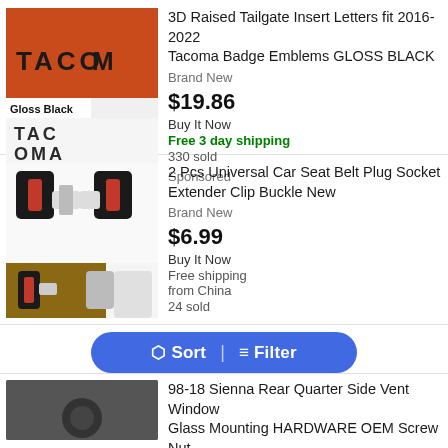[Figure (photo): Tacoma tailgate badge emblems in gloss black, showing the letters TACO-MA raised on a red/orange truck tailgate, with a separate product photo on white background.]
3D Raised Tailgate Insert Letters fit 2016-2022 Tacoma Badge Emblems GLOSS BLACK
Brand New
$19.86
Buy It Now
Free 3 day shipping
330 sold
Sponsored
[Figure (photo): 2 Pcs Universal Car Seat Belt Plug Socket Extender Clip Buckle, shown on white background with red and black buckle pieces, and an installed photo.]
2 Pcs Universal Car Seat Belt Plug Socket Extender Clip Buckle New
Brand New
$6.99
Buy It Now
Free shipping from China
24 sold
Sort | Filter
[Figure (photo): Partial photo of 98-18 Sienna Rear Quarter Side Vent Window Glass Mounting Hardware.]
98-18 Sienna Rear Quarter Side Vent Window Glass Mounting HARDWARE OEM Screw Nut
Pre-Owned